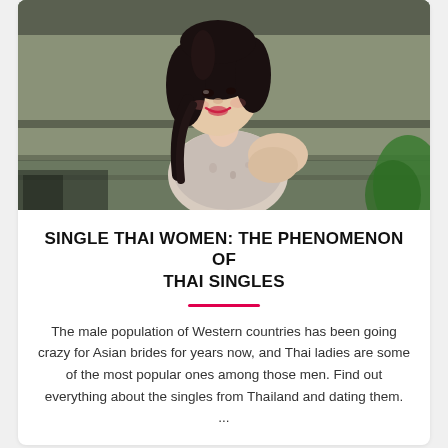[Figure (photo): A young Asian woman with dark hair smiling over her shoulder, wearing a floral top, photographed in a dimly lit indoor setting with green foliage visible]
SINGLE THAI WOMEN: THE PHENOMENON OF THAI SINGLES
The male population of Western countries has been going crazy for Asian brides for years now, and Thai ladies are some of the most popular ones among those men. Find out everything about the singles from Thailand and dating them. ...